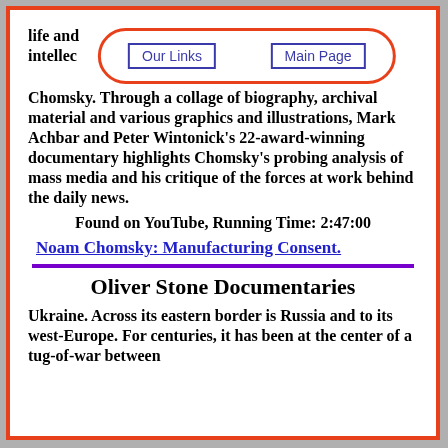life and ... ist, intellec...
[Figure (other): Navigation bar with two buttons inside an orange oval: 'Our Links' and 'Main Page']
Chomsky. Through a collage of biography, archival material and various graphics and illustrations, Mark Achbar and Peter Wintonick's 22-award-winning documentary highlights Chomsky's probing analysis of mass media and his critique of the forces at work behind the daily news.
Found on YouTube, Running Time: 2:47:00
Noam Chomsky: Manufacturing Consent.
Oliver Stone Documentaries
Ukraine. Across its eastern border is Russia and to its west-Europe. For centuries, it has been at the center of a tug-of-war between